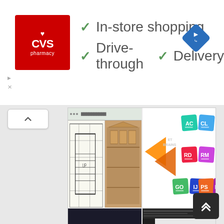[Figure (screenshot): CVS Pharmacy advertisement banner showing logo with red background, checkmarks next to 'In-store shopping', 'Drive-through', and 'Delivery' features, and a blue navigation diamond icon on the right]
[Figure (screenshot): CAD software screenshot showing architectural floor plan on the left panel and a 3D building facade on the right panel, with toolbar at top]
[Figure (logo): JetBrains product suite logos showing AC, CL, RD, RM, GO, IJ, PS, PC product icons on colorful paint-splash backgrounds, with JetBrains logo/arrow]
[Figure (photo): Close-up photo of hands using a laptop, inserting a USB drive into the side port]
[Figure (screenshot): Cadence Allegro PCB software screenshot showing dark IDE interface with toolbars, sidebar, and a product box/cover image showing circuit board design]